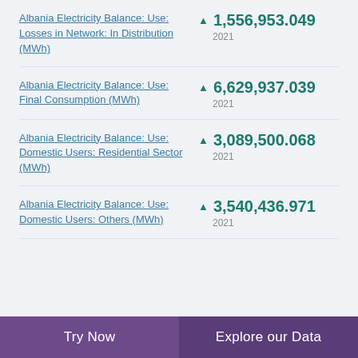Albania Electricity Balance: Use: Losses in Network: In Distribution (MWh) ▲ 1,556,953.049 2021
Albania Electricity Balance: Use: Final Consumption (MWh) ▲ 6,629,937.039 2021
Albania Electricity Balance: Use: Domestic Users: Residential Sector (MWh) ▲ 3,089,500.068 2021
Albania Electricity Balance: Use: Domestic Users: Others (MWh) ▲ 3,540,436.971 2021
Try Now | Explore our Data